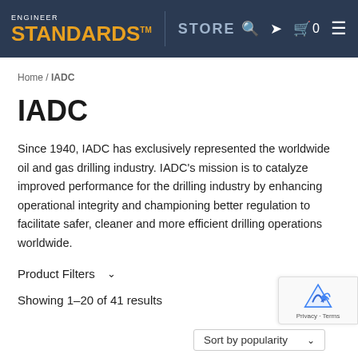ENGINEER STANDARDS™ STORE
Home / IADC
IADC
Since 1940, IADC has exclusively represented the worldwide oil and gas drilling industry. IADC's mission is to catalyze improved performance for the drilling industry by enhancing operational integrity and championing better regulation to facilitate safer, cleaner and more efficient drilling operations worldwide.
Product Filters
Showing 1–20 of 41 results
Sort by popularity